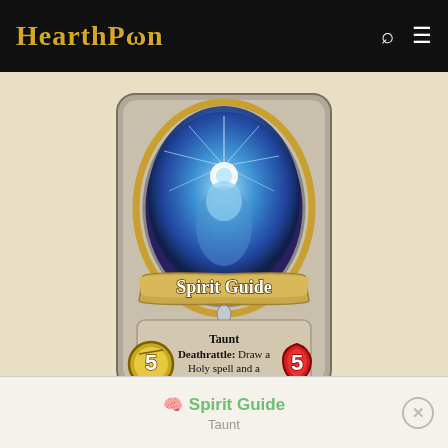HearthPwn
[Figure (illustration): Hearthstone card 'Spirit Guide' — a ghostly blue spectral figure in a stone oval frame with gold trim, card name on a tan banner, text box reading 'Taunt Deathrattle: Draw a Holy spell and a Shadow spell.' with attack value 5 (left, gold coin with sword) and health value 5 (right, red drop), set on a beige background.]
Spirit Guide
Taunt
Deathrattle: Draw a Holy spell and a Shadow spell.
Spirit Guide
Taunt